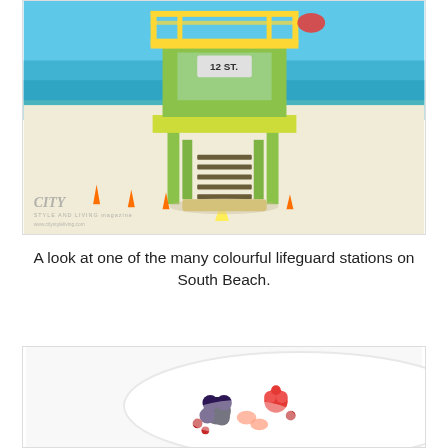[Figure (photo): A colourful lifeguard station (numbered 12 ST) on South Beach, Miami, with yellow and green structure on white sand, blue ocean in the background, orange traffic cones visible. City Style and Living magazine watermark in lower left.]
A look at one of the many colourful lifeguard stations on South Beach.
[Figure (photo): A white plate with assorted berries and fruit pieces including blackberries, raspberries, strawberry slices, and small red berries arranged on a white background.]